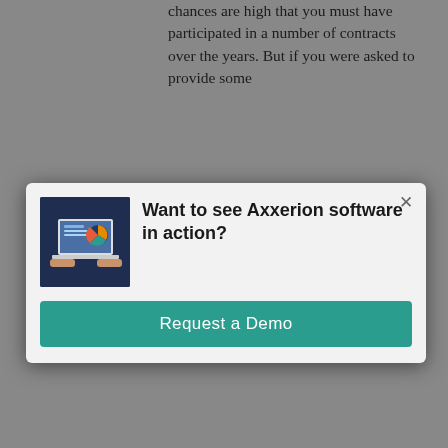chances are high that you must have participated in a number of contracts over the years. But if you were asked to provide some
contract information from a couple years back, would you be able to? Can you pinpoint for sure your best and worst performing contracts? On closer scrutiny is the answer you just gave accurate? Have you made
[Figure (screenshot): Modal popup dialog with laptop/software image thumbnail on left, bold heading 'Want to see Axxerion software in action?' and a teal 'Request a Demo' button. Close (X) button in top right corner.]
more profits or losses from contracts so far? As more years roll by and your business continues to sign even more contracts,...
[Figure (photo): Partial view of buildings/architecture at the bottom of the page]